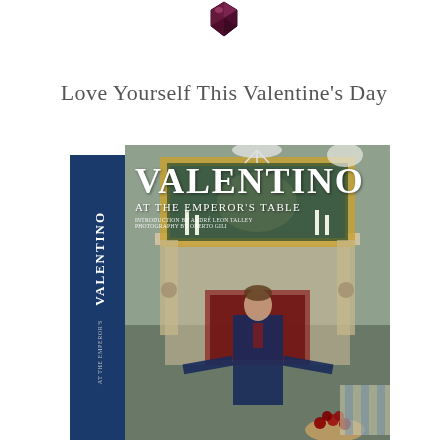[Figure (photo): Small dark gemstone or decorative object at top center of page]
Love Yourself This Valentine’s Day
[Figure (photo): Book cover and spine of 'Valentino At The Emperor's Table' — a large coffee table book showing Valentino standing in an ornate room with a fireplace, gilded mirror, and chandelier. The spine is dark navy blue with white vertical text reading 'VALENTINO AT THE EMPEROR'S'.]